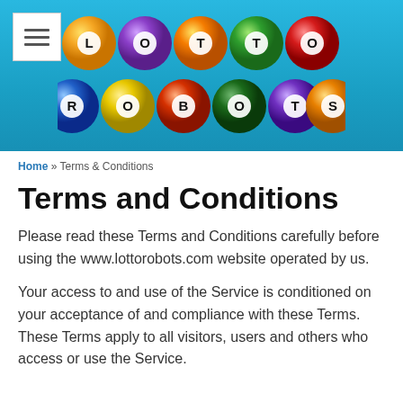[Figure (logo): Lotto Robots logo with colorful billiard balls spelling out LOTTO on top row and ROBOTS on bottom row, on a light blue gradient background. A hamburger menu icon is in the top-left corner.]
Home » Terms & Conditions
Terms and Conditions
Please read these Terms and Conditions carefully before using the www.lottorobots.com website operated by us.
Your access to and use of the Service is conditioned on your acceptance of and compliance with these Terms. These Terms apply to all visitors, users and others who access or use the Service.